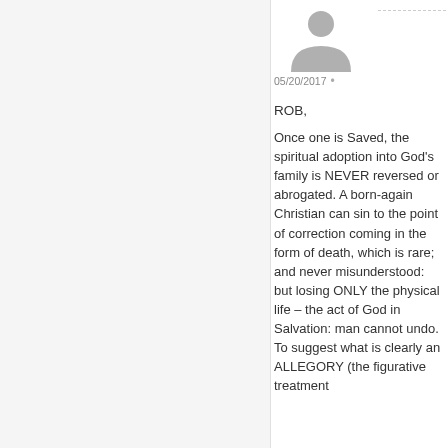[Figure (illustration): Gray avatar/profile placeholder icon showing a silhouette of a person]
05/20/2017 •
ROB,
Once one is Saved, the spiritual adoption into God's family is NEVER reversed or abrogated. A born-again Christian can sin to the point of correction coming in the form of death, which is rare; and never misunderstood: but losing ONLY the physical life – the act of God in Salvation: man cannot undo.
To suggest what is clearly an ALLEGORY (the figurative treatment of one subject under…